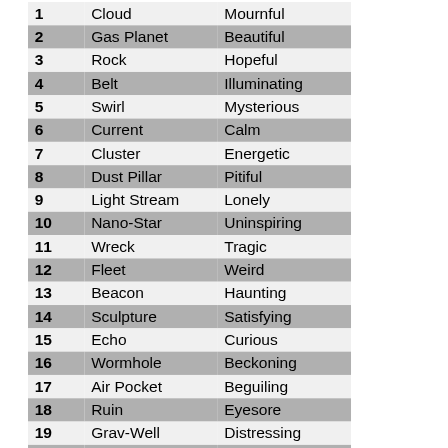|  |  |  |
| --- | --- | --- |
| 1 | Cloud | Mournful |
| 2 | Gas Planet | Beautiful |
| 3 | Rock | Hopeful |
| 4 | Belt | Illuminating |
| 5 | Swirl | Mysterious |
| 6 | Current | Calm |
| 7 | Cluster | Energetic |
| 8 | Dust Pillar | Pitiful |
| 9 | Light Stream | Lonely |
| 10 | Nano-Star | Uninspiring |
| 11 | Wreck | Tragic |
| 12 | Fleet | Weird |
| 13 | Beacon | Haunting |
| 14 | Sculpture | Satisfying |
| 15 | Echo | Curious |
| 16 | Wormhole | Beckoning |
| 17 | Air Pocket | Beguiling |
| 18 | Ruin | Eyesore |
| 19 | Grav-Well | Distressing |
| 20 | Free Ring | Pitiful |